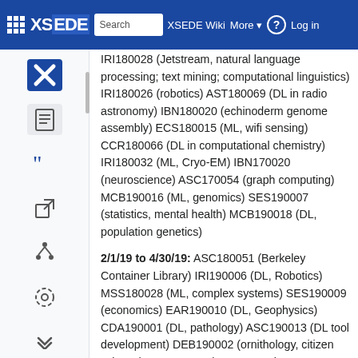XSEDE Wiki — Search | More | Log in
IRI180028 (Jetstream, natural language processing; text mining; computational linguistics) IRI180026 (robotics) AST180069 (DL in radio astronomy) IBN180020 (echinoderm genome assembly) ECS180015 (ML, wifi sensing) CCR180066 (DL in computational chemistry) IRI180032 (ML, Cryo-EM) IBN170020 (neuroscience) ASC170054 (graph computing) MCB190016 (ML, genomics) SES190007 (statistics, mental health) MCB190018 (DL, population genetics)
2/1/19 to 4/30/19: ASC180051 (Berkeley Container Library) IRI190006 (DL, Robotics) MSS180028 (ML, complex systems) SES190009 (economics) EAR190010 (DL, Geophysics) CDA190001 (DL, pathology) ASC190013 (DL tool development) DEB190002 (ornithology, citizen science) DBS190002 (metagenomics, paleoanthropology) CCR190008 (deep neural networks, assembly) ASC190014 (...)